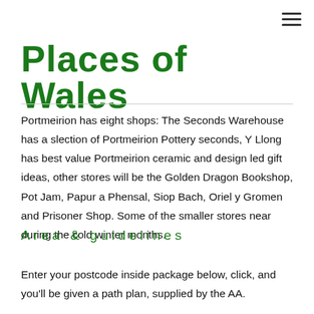Places of Wales
Portmeirion has eight shops: The Seconds Warehouse has a slection of Portmeirion Pottery seconds, Y Llong has best value Portmeirion ceramic and design led gift ideas, other stores will be the Golden Dragon Bookshop, Pot Jam, Papur a Phensal, Siop Bach, Oriel y Gromen and Prisoner Shop. Some of the smaller stores near during the cold winter months.
Area & guidelines
Enter your postcode inside package below, click, and you'll be given a path plan, supplied by the AA.